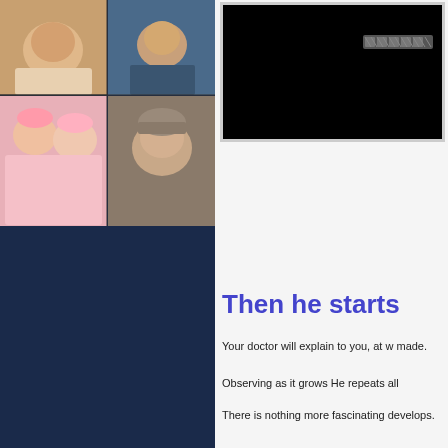[Figure (photo): Grid of four newborn baby photos on dark blue background]
[Figure (photo): Similar Posts cloud button with pill/capsule icon]
Your doctor will explain to you, at what age and with what intervals this inoculation is made.Observing as it grows He repeats all history of human development.There is nothing
[Figure (photo): Embedded video player showing black screen with loading indicator]
Then he starts
Your doctor will explain to you, at w made.
Observing as it grows He repeats all
There is nothing more fascinating develops.